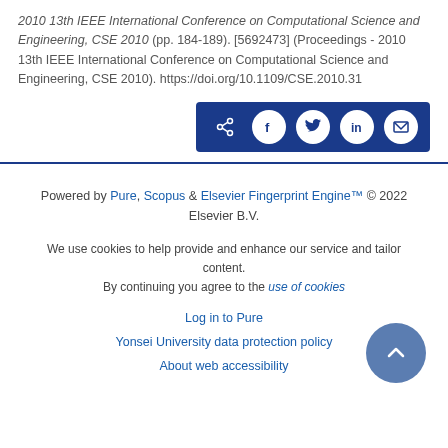2010 13th IEEE International Conference on Computational Science and Engineering, CSE 2010 (pp. 184-189). [5692473] (Proceedings - 2010 13th IEEE International Conference on Computational Science and Engineering, CSE 2010). https://doi.org/10.1109/CSE.2010.31
[Figure (other): Share buttons bar with icons for share, Facebook, Twitter, LinkedIn, and email on a dark blue background]
Powered by Pure, Scopus & Elsevier Fingerprint Engine™ © 2022 Elsevier B.V.
We use cookies to help provide and enhance our service and tailor content. By continuing you agree to the use of cookies
Log in to Pure
Yonsei University data protection policy
About web accessibility